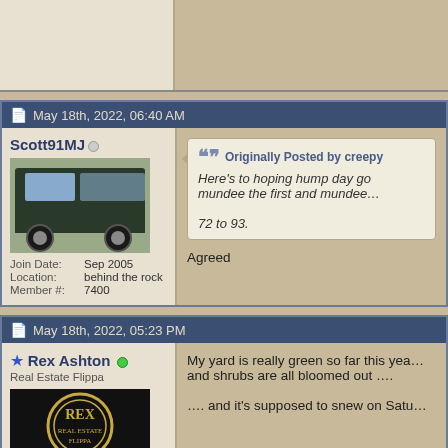[Partial post top — cropped]
May 18th, 2022, 06:40 AM
Scott91MJ
Join Date: Sep 2005
Location: behind the rock
Member #: 7400
Originally Posted by creepy
Here's to hoping hump day go... mundee the first and mundee...
72 to 93.

Agreed
May 18th, 2022, 05:23 PM
Rex Ashton
Real Estate Flippa
My yard is really green so far this yea... and shrubs are all bloomed out ....
.... and it's supposed to snew on Satu...